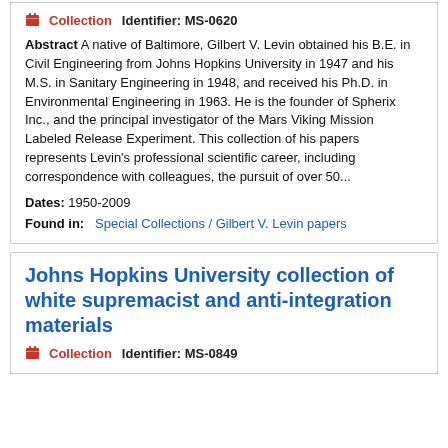Collection   Identifier: MS-0620
Abstract A native of Baltimore, Gilbert V. Levin obtained his B.E. in Civil Engineering from Johns Hopkins University in 1947 and his M.S. in Sanitary Engineering in 1948, and received his Ph.D. in Environmental Engineering in 1963. He is the founder of Spherix Inc., and the principal investigator of the Mars Viking Mission Labeled Release Experiment. This collection of his papers represents Levin's professional scientific career, including correspondence with colleagues, the pursuit of over 50...
Dates: 1950-2009
Found in: Special Collections / Gilbert V. Levin papers
Johns Hopkins University collection of white supremacist and anti-integration materials
Collection   Identifier: MS-0849